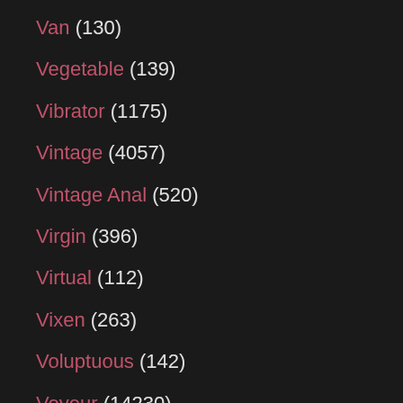Van (130)
Vegetable (139)
Vibrator (1175)
Vintage (4057)
Vintage Anal (520)
Virgin (396)
Virtual (112)
Vixen (263)
Voluptuous (142)
Voyeur (14230)
WTF (10)
Waitress (47)
Wanking (303)
Watching (409)
Watersports (114)
Wax (111)